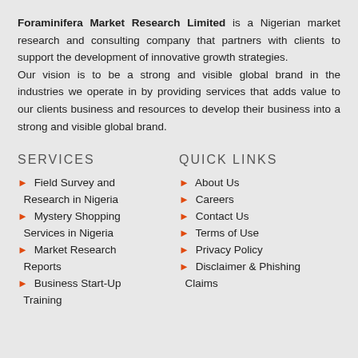Foraminifera Market Research Limited is a Nigerian market research and consulting company that partners with clients to support the development of innovative growth strategies. Our vision is to be a strong and visible global brand in the industries we operate in by providing services that adds value to our clients business and resources to develop their business into a strong and visible global brand.
SERVICES
Field Survey and Research in Nigeria
Mystery Shopping Services in Nigeria
Market Research Reports
Business Start-Up Training
QUICK LINKS
About Us
Careers
Contact Us
Terms of Use
Privacy Policy
Disclaimer & Phishing Claims